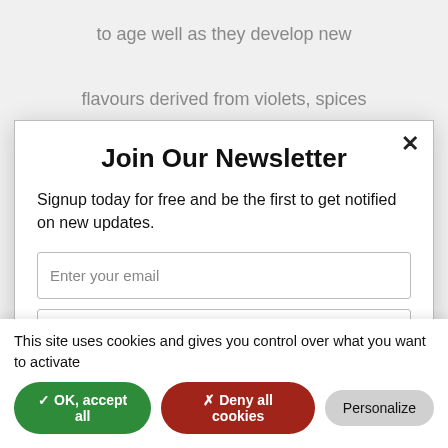to age well as they develop new
flavours derived from violets, spices
Join Our Newsletter
Signup today for free and be the first to get notified on new updates.
Enter your email
Enter last name
Enter first name
This site uses cookies and gives you control over what you want to activate
✓ OK, accept all
✗ Deny all cookies
Personalize